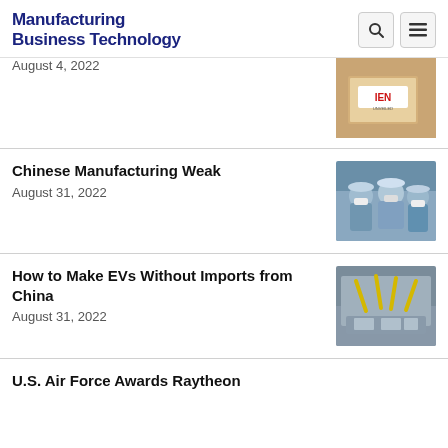Manufacturing Business Technology
August 4, 2022
Chinese Manufacturing Weak
August 31, 2022
How to Make EVs Without Imports from China
August 31, 2022
U.S. Air Force Awards Raytheon